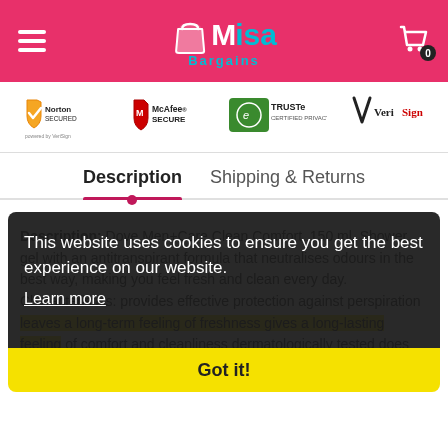Misa Bargains - navigation header with cart
[Figure (logo): Trust badges: Norton Secured, McAfee Secure, TRUSTe Certified Privacy, VeriSign]
Description | Shipping & Returns
Description: Dove Men+Care Clean Comfort, 150 ml, Shower gel with an antitranspirant formula that neutralises odours in the best way, making you feel fresh and clean every day. Characteristics: provides effective protection against perspiration leaves a long-term feeling of freshness gives a long-lasting feeling of comfort and cleanliness dermatologically tested does not irritate sensitive skin the product is specially developed for the
This website uses cookies to ensure you get the best experience on our website.
Learn more
Got it!